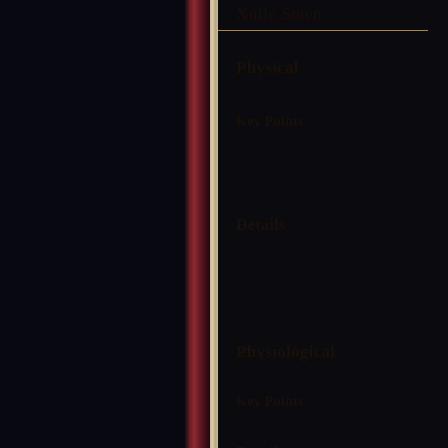Xuile Soien
Physical
Key Points
Details
Physiological
Key Points
Details